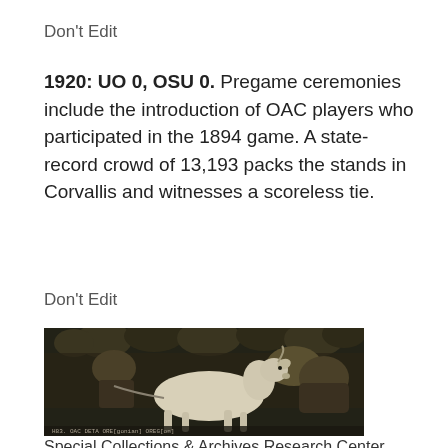Don't Edit
1920: UO 0, OSU 0. Pregame ceremonies include the introduction of OAC players who participated in the 1894 game. A state-record crowd of 13,193 packs the stands in Corvallis and witnesses a scoreless tie.
Don't Edit
[Figure (photo): Black and white historical photograph showing a goat being held by a person, surrounded by a crowd of people. Text at bottom reads 'OAC DETIL ORE[gonian] OREG[on]'.]
Special Collections & Archives Research Center